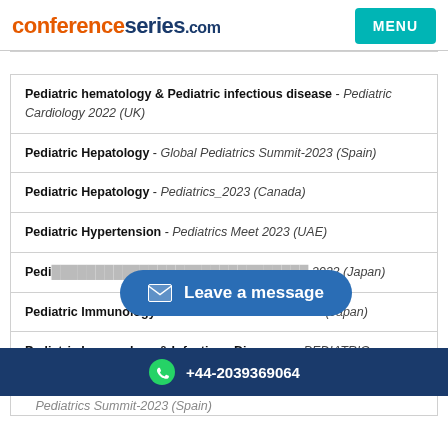conferenceseries.com | MENU
Pediatric hematology & Pediatric infectious disease - Pediatric Cardiology 2022 (UK)
Pediatric Hepatology - Global Pediatrics Summit-2023 (Spain)
Pediatric Hepatology - Pediatrics_2023 (Canada)
Pediatric Hypertension - Pediatrics Meet 2023 (UAE)
Pediatric [obscured] - ...2022 (Japan)
Pediatric Immunology - WORLD PEDIATRICS 2022 (Japan)
Pediatric Immunology & Infectious Diseases: - PEDIATRIC HEALTHCARE 2022 (France)
+44-2039369064
Pediatrics Summit-2023 (Spain)